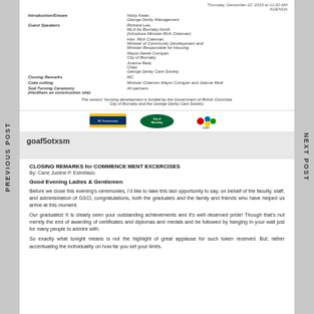PREVIOUS POST
NEXT POST
| Introduction/Emcee | Nicky Kwan, George Derby Management |
| Guest Speakers | Richard Lee, MLA for Burnaby North (Introduce Minister Rich Coleman) |
|  | Hon. Rich Coleman, Minister of Community Development and Minister Responsible for Housing |
|  | Mayor Derek Corrigan, City of Burnaby |
|  | Joanne Reid, Chair, George Derby Care Society |
| Closing Remarks | MC |
| Cake cutting | Minister Coleman Mayor Corrigan and Joanne Reid |
| Sod Turning Ceremony (Hardhat on construction site) | All partners |
The seniors' housing development is funded by the Government of British Columbia, City of Burnaby and the George Derby Care Society.
[Figure (logo): Three logos: BC Government logo, City of Burnaby logo, and George Derby logo]
goaf5otxsm
CLOSING REMARKS for COMMENCEMENT EXCERCISES
By: Carie Justine P. Estrellado
Good Evening Ladies & Gentlemen
Before we close this evening's ceremonies, I'd like to take this last opportunity to say, on behalf of the faculty, staff, and administration of GSCI, congratulations, both the graduates and the family and friends who have helped us arrive at this moment.
Our graduates! It is clearly seen your outstanding achievements and it's well deserved pride! Though that's not merely the end of awarding of certificates and diplomas and medals and be followed by hanging in your wall just for many people to admire with.
So exactly what tonight means is not the highlight of great applause for such token received. But, rather accentuating the individuality on how far you set your limits.